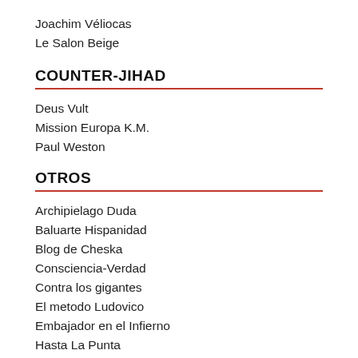Joachim Véliocas
Le Salon Beige
COUNTER-JIHAD
Deus Vult
Mission Europa K.M.
Paul Weston
OTROS
Archipielago Duda
Baluarte Hispanidad
Blog de Cheska
Consciencia-Verdad
Contra los gigantes
El metodo Ludovico
Embajador en el Infierno
Hasta La Punta
Kosovo no se vende